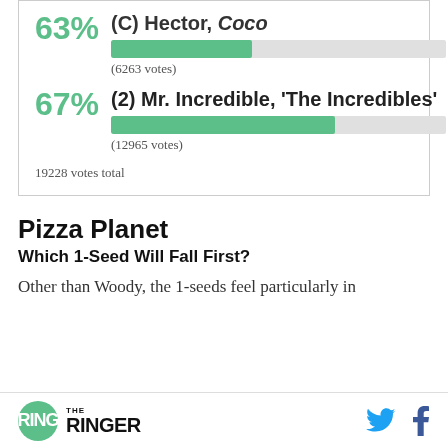[Figure (bar-chart): Poll results]
(6263 votes)
(12965 votes)
19228 votes total
Pizza Planet
Which 1-Seed Will Fall First?
Other than Woody, the 1-seeds feel particularly in
THE RINGER